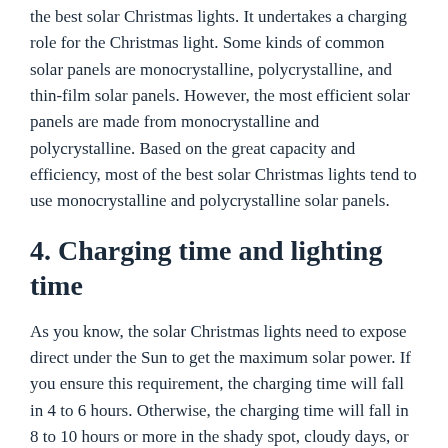the best solar Christmas lights. It undertakes a charging role for the Christmas light. Some kinds of common solar panels are monocrystalline, polycrystalline, and thin-film solar panels. However, the most efficient solar panels are made from monocrystalline and polycrystalline. Based on the great capacity and efficiency, most of the best solar Christmas lights tend to use monocrystalline and polycrystalline solar panels.
4. Charging time and lighting time
As you know, the solar Christmas lights need to expose direct under the Sun to get the maximum solar power. If you ensure this requirement, the charging time will fall in 4 to 6 hours. Otherwise, the charging time will fall in 8 to 10 hours or more in the shady spot, cloudy days, or snowy days. After full charging and the night falling, the solar Christmas lights will auto turn on depending on the sensor. The lighting time is about 6 to 10 hours.